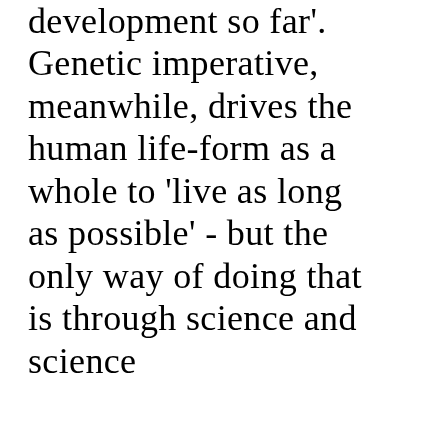development so far'. Genetic imperative, meanwhile, drives the human life-form as a whole to 'live as long as possible' - but the only way of doing that is through science and science